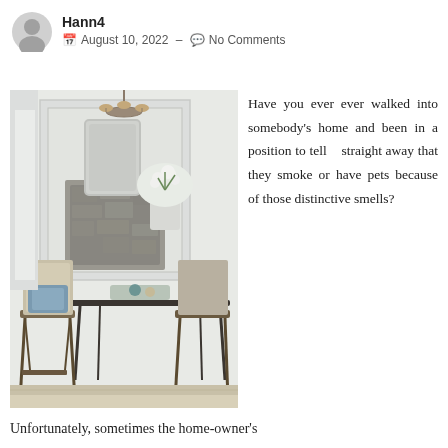Hann4 · August 10, 2022 – No Comments
[Figure (photo): Interior photo of a bright living/dining room with rustic metal folding chairs, a glass-top table, blue cushions, white flowers in a vase, a stone fireplace with mirror, and a chandelier with woven lampshades.]
Have you ever ever walked into somebody's home and been in a position to tell straight away that they smoke or have pets because of those distinctive smells?
Unfortunately, sometimes the home-owner's